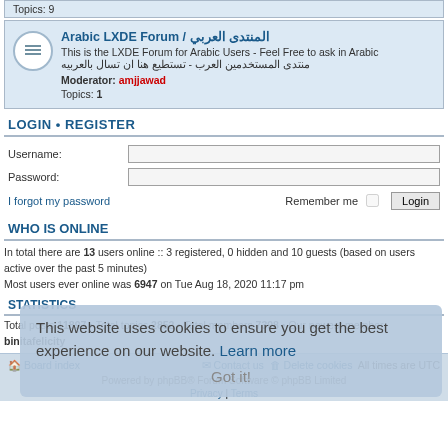Topics: 9
[Figure (screenshot): Arabic LXDE Forum section with forum icon, title, description, moderator and topics count]
LOGIN • REGISTER
Username:
Password:
I forgot my password
Remember me  Login
WHO IS ONLINE
In total there are 13 users online :: 3 registered, 0 hidden and 10 guests (based on users active over the past 5 minutes)
Most users ever online was 6947 on Tue Aug 18, 2020 11:17 pm
STATISTICS
Total posts 11897 • Total topics 2852 • Total members 7398 • Our newest member binitafelicity
Board index  Contact us  Delete cookies  All times are UTC
Powered by phpBB® Forum Software © phpBB Limited
Privacy | Terms